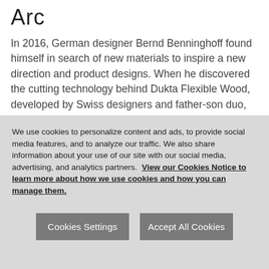Arc
In 2016, German designer Bernd Benninghoff found himself in search of new materials to inspire a new direction and product designs. When he discovered the cutting technology behind Dukta Flexible Wood, developed by Swiss designers and father-son duo, Serge and Pablo Lunin, Bernd was immediately intrigued. The result was the design for Wave, a three-dimensional wall system in collaboration with Spinneyback.
We use cookies to personalize content and ads, to provide social media features, and to analyze our traffic. We also share information about your use of our site with our social media, advertising, and analytics partners. View our Cookies Notice to learn more about how we use cookies and how you can manage them.
Cookies Settings
Accept All Cookies